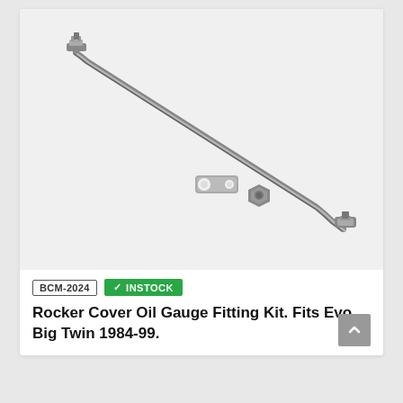[Figure (photo): Product photo of a Rocker Cover Oil Gauge Fitting Kit on a light grey background, showing a long curved braided/metal tube with fittings at each end, plus a small banjo-style bracket and a small hex fitting.]
BCM-2024
✓ INSTOCK
Rocker Cover Oil Gauge Fitting Kit. Fits Evo Big Twin 1984-99.